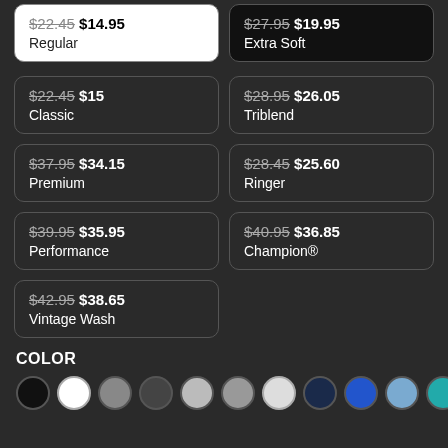$22.45 $14.95 Regular
$27.95 $19.95 Extra Soft
$22.45 $15 Classic
$28.95 $26.05 Triblend
$37.95 $34.15 Premium
$28.45 $25.60 Ringer
$39.95 $35.95 Performance
$40.95 $36.85 Champion®
$42.95 $38.65 Vintage Wash
COLOR